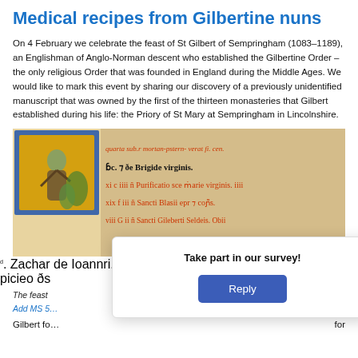Medical recipes from Gilbertine nuns
On 4 February we celebrate the feast of St Gilbert of Sempringham (1083–1189), an Englishman of Anglo-Norman descent who established the Gilbertine Order – the only religious Order that was founded in England during the Middle Ages. We would like to mark this event by sharing our discovery of a previously unidentified manuscript that was owned by the first of the thirteen monasteries that Gilbert established during his life: the Priory of St Mary at Sempringham in Lincolnshire.
[Figure (photo): Illuminated medieval manuscript page showing a decorated initial with a figure, and text in Gothic script with red and black lettering referencing Brigide virginis, Purificatio sce marie virginis, and other feast days. The manuscript is from England, c. 1260.]
The feast of St Gilbert (England, c. 1260):
Add MS 5...
Gilbert fo... for